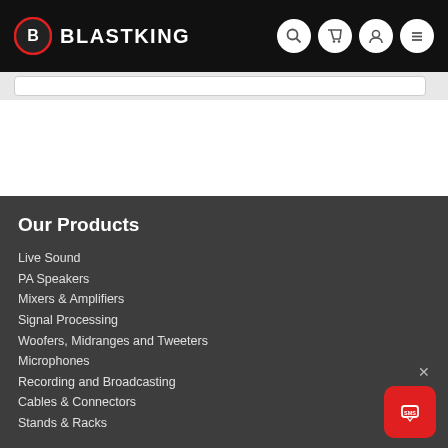BLASTKING
Our Products
Live Sound
PA Speakers
Mixers & Amplifiers
Signal Processing
Woofers, Midranges and Tweeters
Microphones
Recording and Broadcasting
Cables & Connectors
Stands & Racks